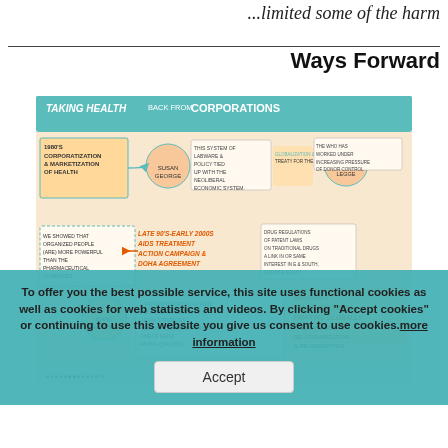...limited some of the harm
Ways Forward
[Figure (infographic): Illustrated infographic titled 'Taking Health Back from Corporations' showing a timeline with illustrated characters (Susan George, David Legge, Mark Heywood) and events: 1980s Corporatization & Marketization of Health; Late 90s-Early 2000s AIDS Treatment Action Campaign & Doha Agreement; Mid-2000s Fall Back from Fighting Globally + Big Pharma Re-Organization & Re-Assertion. With sponsor logos at the bottom.]
To offer you the best possible service, this site uses functional cookies as well as cookies for web statistics and videos. By clicking "Accept cookies" or continuing to use this website you give us consent to use cookies.more information
Accept